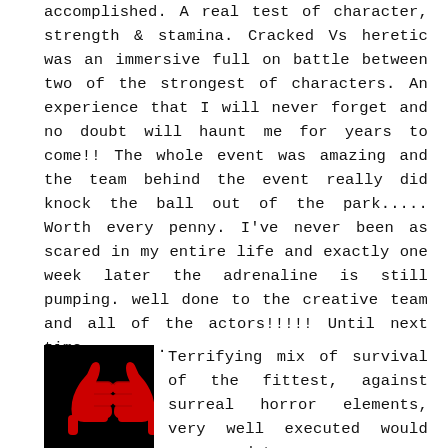accomplished. A real test of character, strength & stamina. Cracked Vs heretic was an immersive full on battle between two of the strongest of characters. An experience that I will never forget and no doubt will haunt me for years to come!! The whole event was amazing and the team behind the event really did knock the ball out of the park..... Worth every penny. I've never been as scared in my entire life and exactly one week later the adrenaline is still pumping. well done to the creative team and all of the actors!!!!! Until next time.........
[Figure (photo): Two red thumbs up icons on a black background]
Terrifying mix of survival of the fittest, against surreal horror elements, very well executed would recommend to anyone